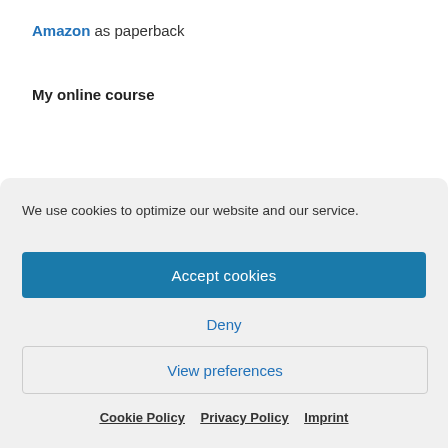Amazon as paperback
My online course
We use cookies to optimize our website and our service.
Accept cookies
Deny
View preferences
Cookie Policy   Privacy Policy   Imprint